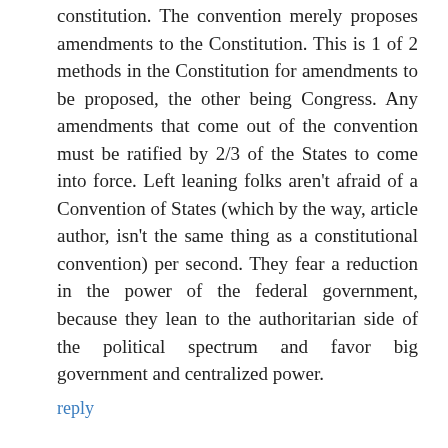constitution. The convention merely proposes amendments to the Constitution. This is 1 of 2 methods in the Constitution for amendments to be proposed, the other being Congress. Any amendments that come out of the convention must be ratified by 2/3 of the States to come into force. Left leaning folks aren't afraid of a Convention of States (which by the way, article author, isn't the same thing as a constitutional convention) per second. They fear a reduction in the power of the federal government, because they lean to the authoritarian side of the political spectrum and favor big government and centralized power.
reply
seattleyo replied on February 29, 2020 - 3:45pm
PERMALINK
OOPS: 3/4 NOT 2/3 APPROVAL